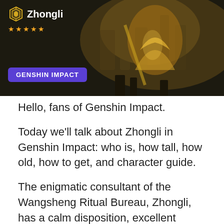[Figure (illustration): Zhongli character banner from Genshin Impact showing a golden armored figure with a purple badge reading 'GENSHIN IMPACT', Zhongli logo with five gold stars in the top left corner, dark fantasy background]
Hello, fans of Genshin Impact.
Today we'll talk about Zhongli in Genshin Impact: who is, how tall, how old, how to get, and character guide.
The enigmatic consultant of the Wangsheng Ritual Bureau, Zhongli, has a calm disposition, excellent manners and an incredible knowledge of history and geology – why this is, you probably already know from the story quests (and if not, we will not spoil the surprise for you). He owns a spear